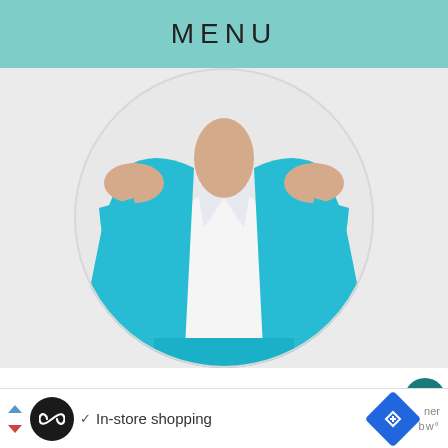MENU
[Figure (photo): Woman wearing a bright turquoise/cyan blazer and matching trousers with a white blouse underneath, shown from neck to waist, cropped in a circular frame on a light grey background.]
Since 2005, Wardrobe Oxygen has offered real-life style advice for grown-ass women. With years of experience as an apparel visual
In-store shopping